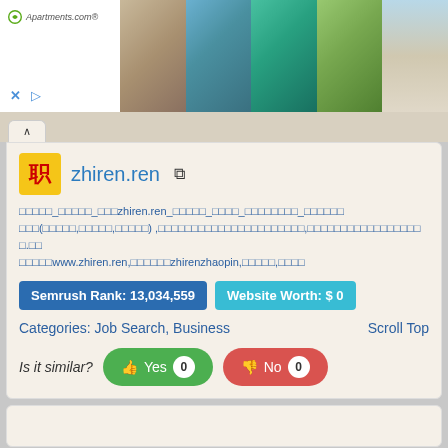[Figure (screenshot): Apartments.com advertisement banner with photos of apartment interiors and amenities]
zhiren.ren
□□□□□_□□□□□_□□□zhiren.ren_□□□□□_□□□□_□□□□□□□□_□□□□□□□□□(□□□□□,□□□□□,□□□□□) ,□□□□□□□□□□□□□□□□□□□□□□,□□□□□□□□□□□□□□□□□□.□□□□□□www.zhiren.ren,□□□□□□zhirenzhaopin,□□□□□,□□□□
Semrush Rank: 13,034,559
Website Worth: $ 0
Categories: Job Search, Business
Scroll Top
Is it similar?
Yes 0
No 0